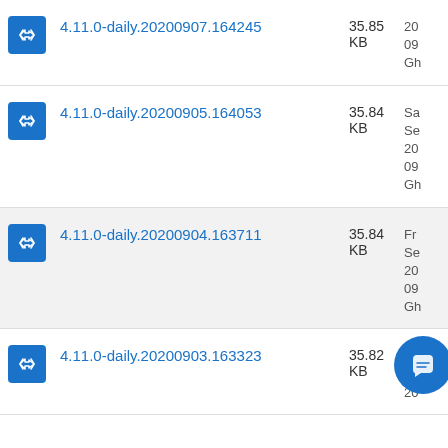4.11.0-daily.20200907.164245 | 35.85 KB | 20 09 Gh
4.11.0-daily.20200905.164053 | 35.84 KB | Sa Se 20 09 Gh
4.11.0-daily.20200904.163711 | 35.84 KB | Fr Se 20 09 Gh
4.11.0-daily.20200903.163323 | 35.82 KB | Th Se 20